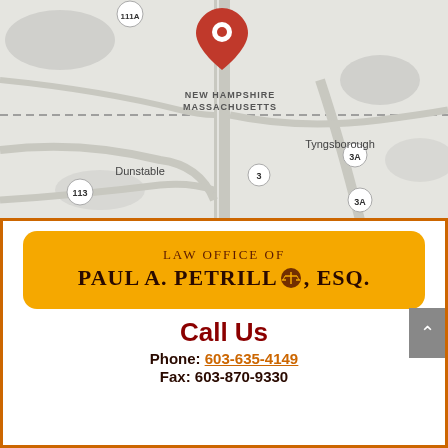[Figure (map): Google Maps screenshot showing the NH/MA border area with a red location pin marker. Shows towns Dunstable and Tyngsborough, route markers 3, 3A, 113, and the New Hampshire / Massachusetts state border label.]
[Figure (logo): Orange rounded rectangle banner with text: LAW OFFICE OF PAUL A. PETRILLO (with scales of justice icon), ESQ.]
Call Us
Phone: 603-635-4149
Fax: 603-870-9330